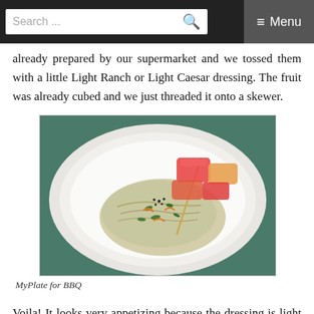Search ... ≡ Menu
already prepared by our supermarket and we tossed them with a little Light Ranch or Light Caesar dressing. The fruit was already cubed and we just threaded it onto a skewer.
[Figure (photo): A white plate with coleslaw salad piled high and fruit skewers with watermelon and cantaloupe cubes on top.]
MyPlate for BBQ
Voila! It looks very appetizing because the dressing is light and the slaw is piled high and delicately on the plate. The garnishes: black sesame seeds